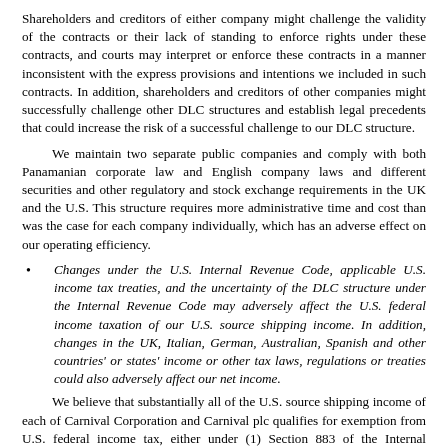Shareholders and creditors of either company might challenge the validity of the contracts or their lack of standing to enforce rights under these contracts, and courts may interpret or enforce these contracts in a manner inconsistent with the express provisions and intentions we included in such contracts. In addition, shareholders and creditors of other companies might successfully challenge other DLC structures and establish legal precedents that could increase the risk of a successful challenge to our DLC structure.
We maintain two separate public companies and comply with both Panamanian corporate law and English company laws and different securities and other regulatory and stock exchange requirements in the UK and the U.S. This structure requires more administrative time and cost than was the case for each company individually, which has an adverse effect on our operating efficiency.
Changes under the U.S. Internal Revenue Code, applicable U.S. income tax treaties, and the uncertainty of the DLC structure under the Internal Revenue Code may adversely affect the U.S. federal income taxation of our U.S. source shipping income. In addition, changes in the UK, Italian, German, Australian, Spanish and other countries' or states' income or other tax laws, regulations or treaties could also adversely affect our net income.
We believe that substantially all of the U.S. source shipping income of each of Carnival Corporation and Carnival plc qualifies for exemption from U.S. federal income tax, either under (1) Section 883 of the Internal Revenue Code; or (2) applicable U.S. income tax treaties, and should continue to so qualify under the DLC structure. There is, however, no existing U.S. federal income tax authority that directly addresses the tax consequences of implementation of a DLC structure for purposes of Section 883 or any other provision of the Internal Revenue Code or any income tax treaty and, consequently, these matters are not free from doubt.